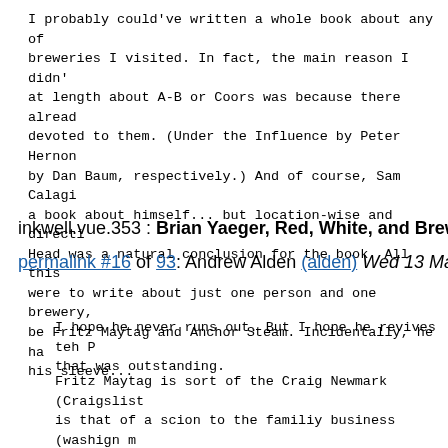I probably could've written a whole book about any of the breweries I visited. In fact, the main reason I didn't at length about A-B or Coors was because there already devoted to them. (Under the Influence by Peter Hernon by Dan Baum, respectively.) And of course, Sam Calagi a book about himself... but location-wise and directi Head was a natural conclusion for the book. All this were to write about just one person and one brewery, be Fritz Maytag and Anchor Steam. Incidentally, he ha his sleeve...
inkwell.vue.353 : Brian Yaeger, Red, White, and Brew
permalink #16 of 93: Andrew Alden (alden) Wed 13 May 09 15:4
I hope he never runs out. But I hope he revives teh P that was outstanding.
Fritz Maytag is sort of the Craig Newmark (Craigslist is that of a scion to the familiy business (washign m cheese) who continued in family business, but in a di fascinating parallel case might be Lexington Brewing It's a teeny side project by an enormously successfully who flew in in his private jet for your interview. Hi (or was when you were there) and might move into that plated brewery that his dad picked up out of bankrupt